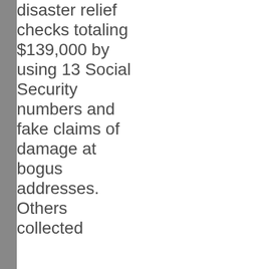disaster relief checks totaling $139,000 by using 13 Social Security numbers and fake claims of damage at bogus addresses. Others collected